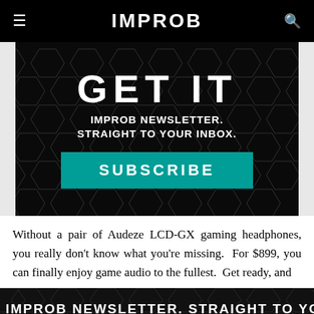IMPROB
[Figure (infographic): Dark hexagon-patterned banner with text 'GET IT IMPROB NEWSLETTER. STRAIGHT TO YOUR INBOX.' and a teal SUBSCRIBE button]
Without a pair of Audeze LCD-GX gaming headphones, you really don't know what you're missing. For $899, you can finally enjoy game audio to the fullest. Get ready, and
[Figure (infographic): Dark hexagon-patterned bottom banner with text 'IMPROB NEWSLETTER. STRAIGHT TO YOUR']